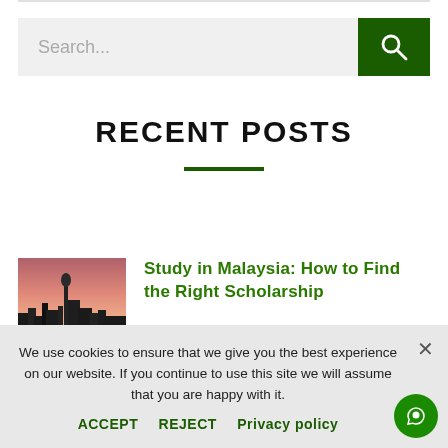[Figure (screenshot): Search bar with text input field showing 'Search...' placeholder and a dark green search button with magnifying glass icon]
RECENT POSTS
[Figure (photo): Thumbnail photo of a city skyline at dusk/sunset with tall buildings and pink sky]
Study in Malaysia: How to Find the Right Scholarship
We use cookies to ensure that we give you the best experience on our website. If you continue to use this site we will assume that you are happy with it.
ACCEPT   REJECT   Privacy policy